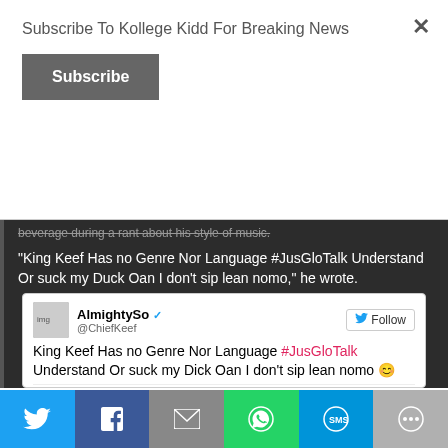Subscribe To Kollege Kidd For Breaking News
Subscribe
beverage during a rant about his style of music.
“King Keef Has no Genre Nor Language #JusGloTalk Understand Or suck my Duck Oan I don’t sip lean nomo,” he wrote.
[Figure (screenshot): Tweet screenshot from AlmightySo (@ChiefKeef) with Follow button, reading: King Keef Has no Genre Nor Language #JusGloTalk Understand Or suck my Dick Oan I don't sip lean nomo, with emoji, and Reply/Retweet/Favorite/More actions at bottom]
[Figure (infographic): Social share bar with Twitter, Facebook, Email, WhatsApp, SMS, and More buttons]